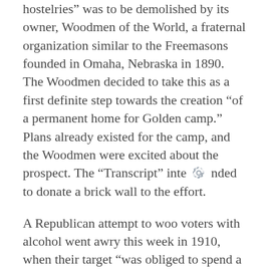hostelries” was to be demolished by its owner, Woodmen of the World, a fraternal organization similar to the Freemasons founded in Omaha, Nebraska in 1890. The Woodmen decided to take this as a first definite step towards the creation “of a permanent home for Golden camp.” Plans already existed for the camp, and the Woodmen were excited about the prospect. The “Transcript” intended to donate a brick wall to the effort.
A Republican attempt to woo voters with alcohol went awry this week in 1910, when their target “was obliged to spend a couple of nights in the county jail.” Despite the county office seeker’s official temperance position, he provided an Evergreen man with a gallon of whiskey “to be used in making friends in that section for the aforesaid aspirant and his co-hunters for